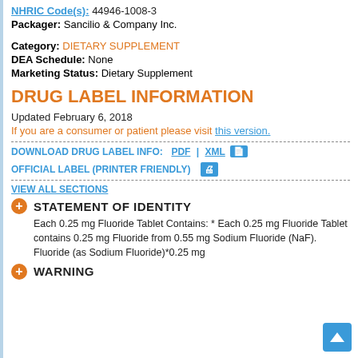NHRIC Code(s): 44946-1008-3
Packager: Sancilio & Company Inc.
Category: DIETARY SUPPLEMENT
DEA Schedule: None
Marketing Status: Dietary Supplement
DRUG LABEL INFORMATION
Updated February 6, 2018
If you are a consumer or patient please visit this version.
DOWNLOAD DRUG LABEL INFO: PDF | XML
OFFICIAL LABEL (PRINTER FRIENDLY)
VIEW ALL SECTIONS
STATEMENT OF IDENTITY
Each 0.25 mg Fluoride Tablet Contains: * Each 0.25 mg Fluoride Tablet contains 0.25 mg Fluoride from 0.55 mg Sodium Fluoride (NaF). Fluoride (as Sodium Fluoride)*0.25 mg
WARNING